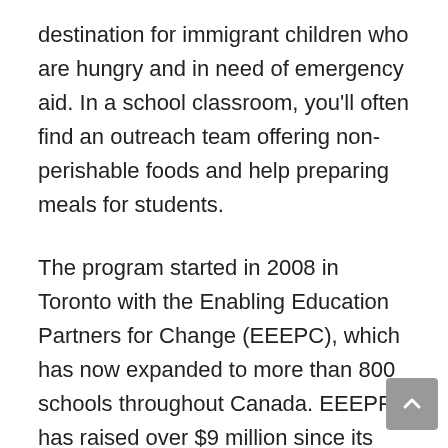destination for immigrant children who are hungry and in need of emergency aid. In a school classroom, you'll often find an outreach team offering non-perishable foods and help preparing meals for students.
The program started in 2008 in Toronto with the Enabling Education Partners for Change (EEEPC), which has now expanded to more than 800 schools throughout Canada. EEEPPC has raised over $9 million since its inception to supply free school meals to kids in need.